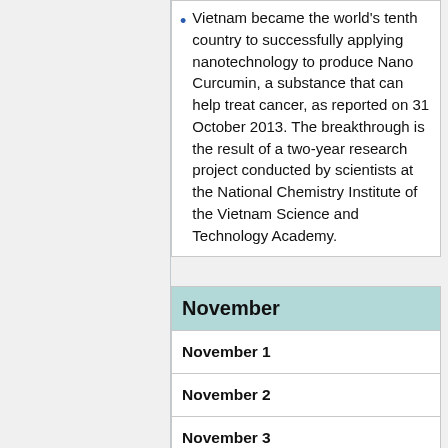Vietnam became the world's tenth country to successfully applying nanotechnology to produce Nano Curcumin, a substance that can help treat cancer, as reported on 31 October 2013. The breakthrough is the result of a two-year research project conducted by scientists at the National Chemistry Institute of the Vietnam Science and Technology Academy.
November
November 1
November 2
November 3
November 4